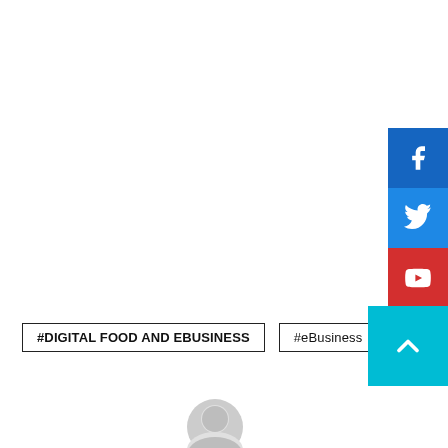[Figure (infographic): Social media sidebar with Facebook (blue), Twitter (light blue), YouTube (red), and Instagram (dark grey) icon buttons stacked vertically on the right edge]
#DIGITAL FOOD AND EBUSINESS
#eBusiness
[Figure (illustration): Grey circular user avatar placeholder icon at the bottom center of the page]
[Figure (other): Teal/cyan scroll-to-top button with upward chevron arrow on the right side]